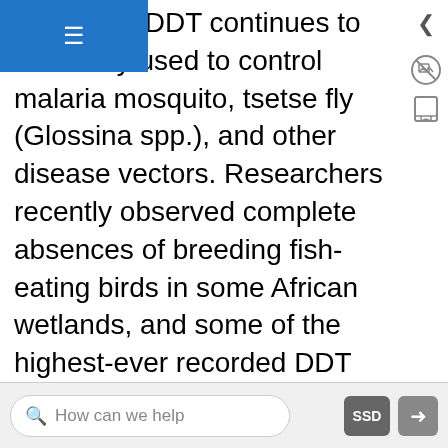vs, 2009); DDT continues to be widely used to control malaria mosquito, tsetse fly (Glossina spp.), and other disease vectors. Researchers recently observed complete absences of breeding fish-eating birds in some African wetlands, and some of the highest-ever recorded DDT levels in seed-eating birds (Bouwman et al., 2013). This is cause for concern, not only for wildlife, but also for the long-term effects on people, particularly the consumers of the food products exposed to these chemicals (e.g. Manaca et al., 2011) and the workers who handle these chemicals in the field.
Pollution does not always lead to immediate mortality, but instead can have sublethal impacts that compromise organisms' fitness over time, with
How can we help